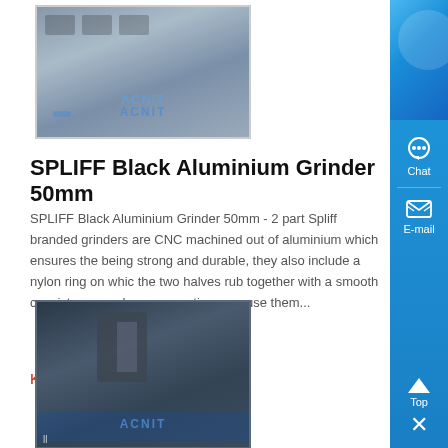[Figure (photo): SPLIFF Black Aluminium Grinder 50mm product photo - grey rectangular grinder with metal components, watermarked ACNIT]
SPLIFF Black Aluminium Grinder 50mm
SPLIFF Black Aluminium Grinder 50mm - 2 part Spliff branded grinders are CNC machined out of aluminium which ensures the being strong and durable, they also include a nylon ring on whic the two halves rub together with a smooth consistency each anc every time you use them...
Know More
[Figure (photo): Industrial machinery photo - factory floor with large equipment, watermarked ACNIT]